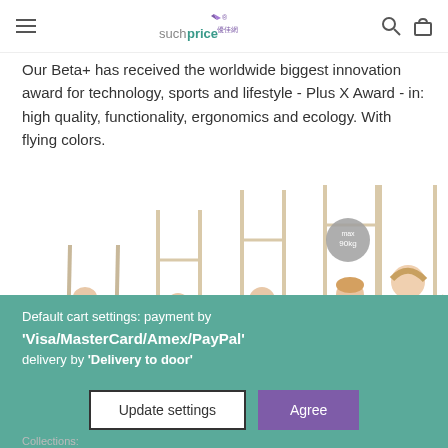suchprice (logo)
Our Beta+ has received the worldwide biggest innovation award for technology, sports and lifestyle - Plus X Award - in: high quality, functionality, ergonomics and ecology. With flying colors.
[Figure (photo): Five growing stages of a child using the Beta+ high chair — from infant reclined position to adult/parent sitting — shown side by side on white background. A circular badge reads 'max 90kg'.]
Default cart settings: payment by 'Visa/MasterCard/Amex/PayPal' delivery by 'Delivery to door'
Update settings   Agree
Collections: